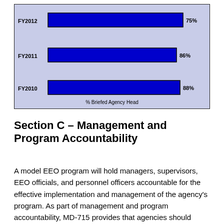[Figure (bar-chart): % Briefed Agency Head]
Section C – Management and Program Accountability
A model EEO program will hold managers, supervisors, EEO officials, and personnel officers accountable for the effective implementation and management of the agency's program. As part of management and program accountability, MD-715 provides that agencies should